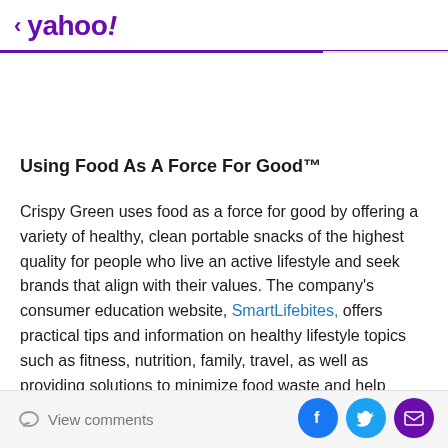< yahoo!
Using Food As A Force For Good™
Crispy Green uses food as a force for good by offering a variety of healthy, clean portable snacks of the highest quality for people who live an active lifestyle and seek brands that align with their values. The company's consumer education website, SmartLifebites, offers practical tips and information on healthy lifestyle topics such as fitness, nutrition, family, travel, as well as providing solutions to minimize food waste and help
View comments